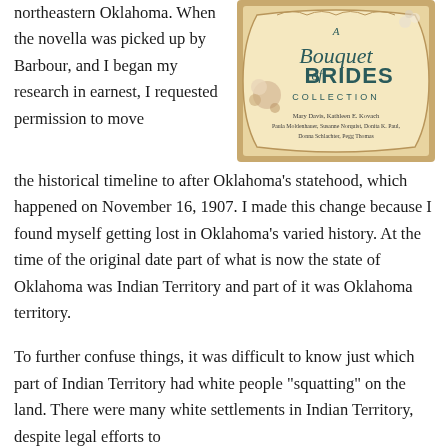northeastern Oklahoma. When the novella was picked up by Barbour, and I began my research in earnest, I requested permission to move the historical timeline to after Oklahoma's statehood, which happened on November 16, 1907. I made this change because I found myself getting lost in Oklahoma's varied history. At the time of the original date part of what is now the state of Oklahoma was Indian Territory and part of it was Oklahoma territory.
[Figure (illustration): Book cover of 'A Bouquet of Brides Collection' featuring decorative floral design with authors: Mary Davis, Kathleen E. Kovach, Paula Moldenhauer, Susanne Norquist, Donita K. Paul, Donna Schlachter, Pegg Thomas]
To further confuse things, it was difficult to know just which part of Indian Territory had white people "squatting" on the land. There were many white settlements in Indian Territory, despite legal efforts to